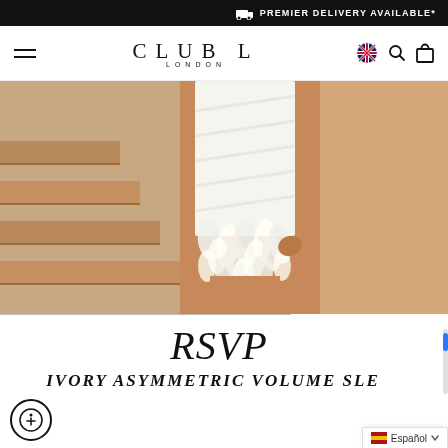PREMIER DELIVERY AVAILABLE*
CLUB L LONDON
[Figure (photo): Close-up photo of a model wearing a white bandage-style mini dress with feather trim hem, standing on wooden stairs with an orange/tan background]
RSVP
IVORY ASYMMETRIC VOLUME SLEEVE